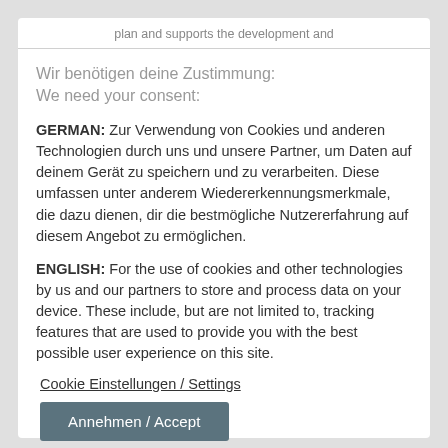plan and supports the development and
Wir benötigen deine Zustimmung:
We need your consent:
GERMAN: Zur Verwendung von Cookies und anderen Technologien durch uns und unsere Partner, um Daten auf deinem Gerät zu speichern und zu verarbeiten. Diese umfassen unter anderem Wiedererkennungsmerkmale, die dazu dienen, dir die bestmögliche Nutzererfahrung auf diesem Angebot zu ermöglichen.
ENGLISH: For the use of cookies and other technologies by us and our partners to store and process data on your device. These include, but are not limited to, tracking features that are used to provide you with the best possible user experience on this site.
Cookie Einstellungen / Settings
Annehmen / Accept